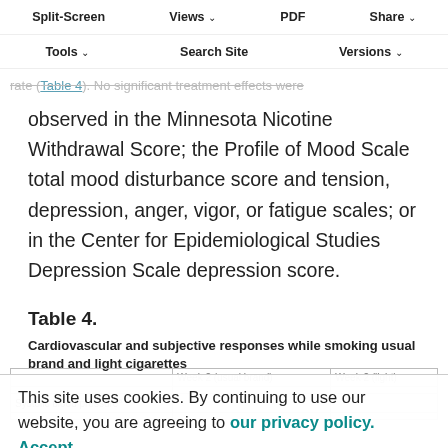Split-Screen  Views  PDF  Share  Tools  Search Site  Versions
Cardiovascular and Subjective Response. No significant treatment effects were observed on blood pressure or heart rate (Table 4). No significant treatment effects were observed in the Minnesota Nicotine Withdrawal Score; the Profile of Mood Scale total mood disturbance score and tension, depression, anger, vigor, or fatigue scales; or in the Center for Epidemiological Studies Depression Scale depression score.
Table 4.
Cardiovascular and subjective responses while smoking usual brand and light cigarettes
This site uses cookies. By continuing to use our website, you are agreeing to our privacy policy. Accept